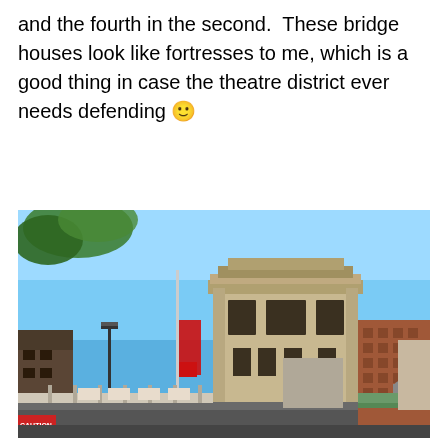and the fourth in the second.  These bridge houses look like fortresses to me, which is a good thing in case the theatre district ever needs defending 🙂
[Figure (photo): Outdoor urban photo showing a tall stone bridge house tower in the foreground against a clear blue sky, with city buildings visible in the background and a bridge in the lower portion of the image.]